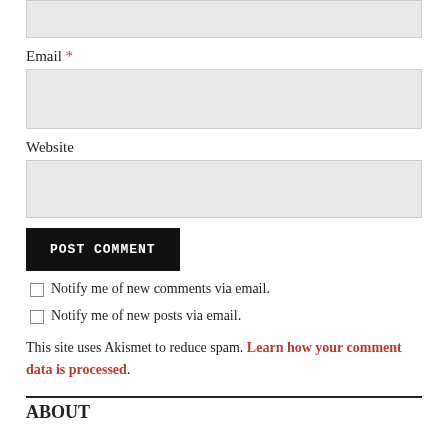[input box at top — partial, cropped]
Email *
[email input box]
Website
[website input box]
POST COMMENT
Notify me of new comments via email.
Notify me of new posts via email.
This site uses Akismet to reduce spam. Learn how your comment data is processed.
ABOUT